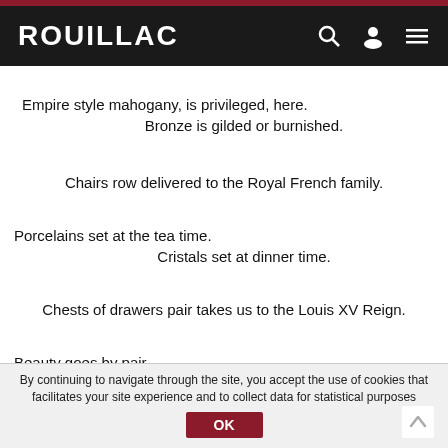ROUILLAC
Empire style mahogany, is privileged, here.
Bronze is gilded or burnished.
Chairs row delivered to the Royal French family.
Porcelains set at the tea time.
Cristals set at dinner time.
Chests of drawers pair takes us to the Louis XV Reign.
Beauty goes by pair
Mirors game and lights game.
By continuing to navigate through the site, you accept the use of cookies that facilitates your site experience and to collect data for statistical purposes